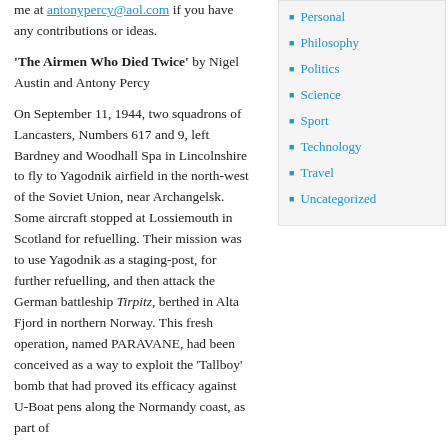me at antonypercy@aol.com if you have any contributions or ideas.
'The Airmen Who Died Twice' by Nigel Austin and Antony Percy
On September 11, 1944, two squadrons of Lancasters, Numbers 617 and 9, left Bardney and Woodhall Spa in Lincolnshire to fly to Yagodnik airfield in the north-west of the Soviet Union, near Archangelsk. Some aircraft stopped at Lossiemouth in Scotland for refuelling. Their mission was to use Yagodnik as a staging-post, for further refuelling, and then attack the German battleship Tirpitz, berthed in Alta Fjord in northern Norway. This fresh operation, named PARAVANE, had been conceived as a way to exploit the 'Tallboy' bomb that had proved its efficacy against U-Boat pens along the Normandy coast, as part of
Personal
Philosophy
Politics
Science
Sport
Technology
Travel
Uncategorized